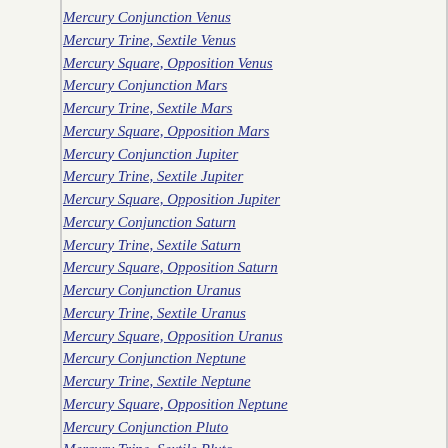Mercury Conjunction Venus
Mercury Trine, Sextile Venus
Mercury Square, Opposition Venus
Mercury Conjunction Mars
Mercury Trine, Sextile Mars
Mercury Square, Opposition Mars
Mercury Conjunction Jupiter
Mercury Trine, Sextile Jupiter
Mercury Square, Opposition Jupiter
Mercury Conjunction Saturn
Mercury Trine, Sextile Saturn
Mercury Square, Opposition Saturn
Mercury Conjunction Uranus
Mercury Trine, Sextile Uranus
Mercury Square, Opposition Uranus
Mercury Conjunction Neptune
Mercury Trine, Sextile Neptune
Mercury Square, Opposition Neptune
Mercury Conjunction Pluto
Mercury Trine, Sextile Pluto
Mercury Square, Opposition Pluto
Venus Aspects
Venus Conjunction Mars
Venus Trine, Sextile Mars